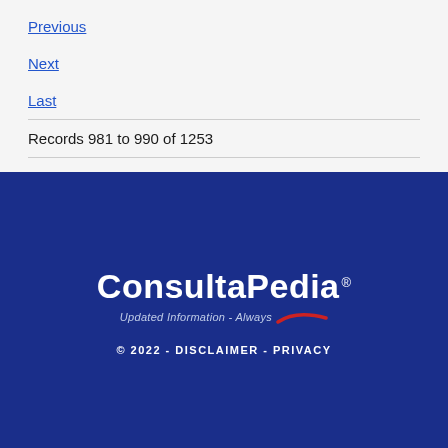Previous
Next
Last
Records 981 to 990 of 1253
[Figure (logo): ConsultaPedia logo with tagline 'Updated Information - Always' and red swoosh, on dark blue background. Footer text: © 2022 - DISCLAIMER - PRIVACY]